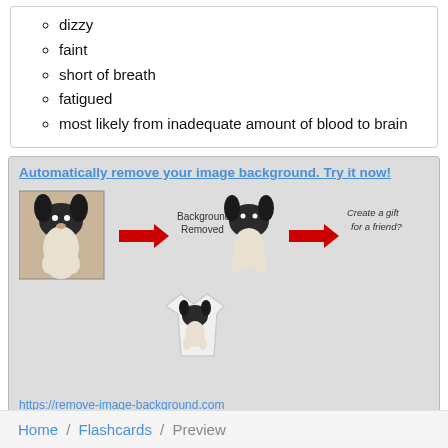dizzy
faint
short of breath
fatigued
most likely from inadequate amount of blood to brain
[Figure (photo): Advertisement for remove-image-background.com showing a dog photo with background removed and placed on a t-shirt, with text 'Automatically remove your image background. Try it now!']
https://remove-image-background.com
Home / Flashcards / Preview